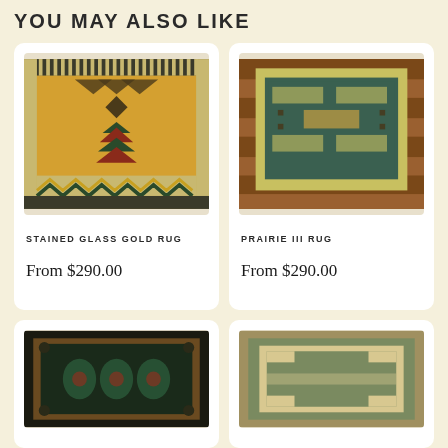YOU MAY ALSO LIKE
[Figure (photo): Stained Glass Gold Rug - orange/gold geometric rug with arrow and diamond patterns and dark chevron border]
STAINED GLASS GOLD RUG
From $290.00
[Figure (photo): Prairie III Rug - teal/green rug with geometric pattern on wood floor]
PRAIRIE III RUG
From $290.00
[Figure (photo): Dark rug with floral/botanical pattern in teal and burgundy tones with dark border]
[Figure (photo): Sage green rug with rectangular geometric border pattern in cream/beige tones]